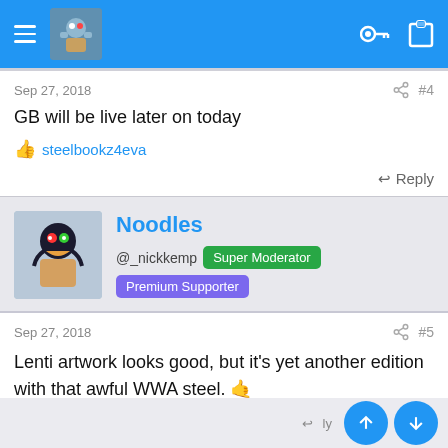Navigation bar with hamburger menu, avatar, key and clipboard icons
Sep 27, 2018 · #4
GB will be live later on today
👍 steelbookz4eva
↩ Reply
Noodles @_nickkemp Super Moderator Premium Supporter
Sep 27, 2018 · #5
Lenti artwork looks good, but it's yet another edition with that awful WWA steel. 🤙